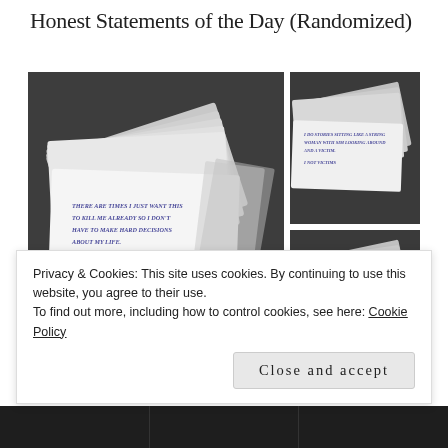Honest Statements of the Day (Randomized)
[Figure (photo): Three stacks of white cards photographed on a dark background. Left large image shows cards fanned out with text reading 'There are times I just want this to kill me already so I don't have to make hard decisions about my life.' Top right shows another card stack with small text. Bottom right shows another card stack with small text.]
Privacy & Cookies: This site uses cookies. By continuing to use this website, you agree to their use.
To find out more, including how to control cookies, see here: Cookie Policy
Close and accept